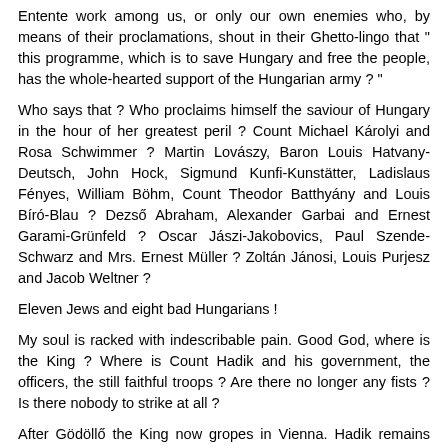Entente work among us, or only our own enemies who, by means of their proclamations, shout in their Ghetto-lingo that " this programme, which is to save Hungary and free the people, has the whole-hearted support of the Hungarian army ? "
Who says that ? Who proclaims himself the saviour of Hungary in the hour of her greatest peril ? Count Michael Károlyi and Rosa Schwimmer ? Martin Lovászy, Baron Louis Hatvany-Deutsch, John Hock, Sigmund Kunfi-Kunstätter, Ladislaus Fényes, William Böhm, Count Theodor Batthyány and Louis Bíró-Blau ? Dezső Abraham, Alexander Garbai and Ernest Garami-Grünfeld ? Oscar Jászi-Jakobovics, Paul Szende-Schwarz and Mrs. Ernest Müller ? Zoltán Jánosi, Louis Purjesz and Jacob Weltner ?
Eleven Jews and eight bad Hungarians !
My soul is racked with indescribable pain. Good God, where is the King ? Where is Count Hadik and his government, the officers, the still faithful troops ? Are there no longer any fists ? Is there nobody to strike at all ?
After Gödöllő the King now gropes in Vienna. Hadik remains inactive while the fateful hours fly by. The officials do not lay down their pens, but incline their heads meekly under the